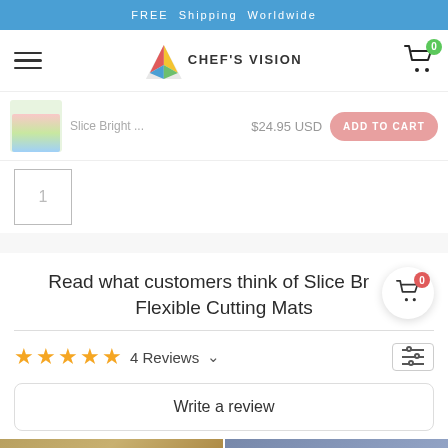FREE Shipping Worldwide
[Figure (screenshot): Chef's Vision logo with colorful triangular icon and navigation bar with hamburger menu and cart showing 0 items]
Slice Bright ... $24.95 USD ADD TO CART
1
Read what customers think of Slice Bright Flexible Cutting Mats
★★★★★ 4 Reviews ∨
Write a review
[Figure (photo): Two product review photos at the bottom of the page showing cutting mats in use]